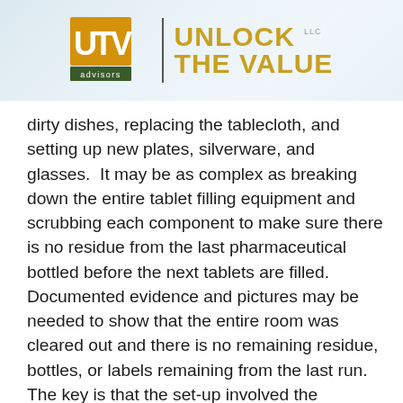[Figure (logo): UTV Advisors - Unlock The Value LLC logo with orange/gold lettering and green accent bar]
dirty dishes, replacing the tablecloth, and setting up new plates, silverware, and glasses.  It may be as complex as breaking down the entire tablet filling equipment and scrubbing each component to make sure there is no residue from the last pharmaceutical bottled before the next tablets are filled.  Documented evidence and pictures may be needed to show that the entire room was cleared out and there is no remaining residue, bottles, or labels remaining from the last run.  The key is that the set-up involved the physical changes to the equipment or environment to make the next product or service.